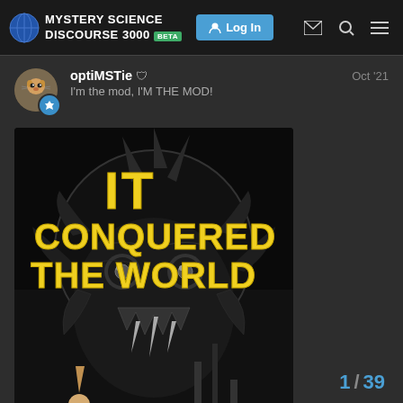MYSTERY SCIENCE DISCOURSE 3000 BETA | Log In
optiMSTie — I'm the mod, I'M THE MOD! — Oct '21
[Figure (illustration): Movie poster for 'It Conquered the World' showing a monstrous alien creature with large eyes and fangs, in black and white, with yellow text reading 'IT CONQUERED THE WORLD'. Text at bottom: 'Every man its prisoner... Every woman']
1 / 39